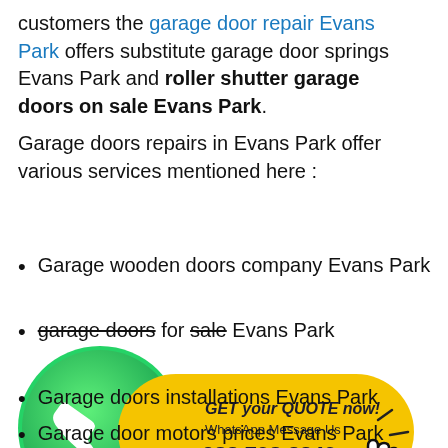customers the garage door repair Evans Park offers substitute garage door springs Evans Park and roller shutter garage doors on sale Evans Park.
Garage doors repairs in Evans Park offer various services mentioned here :
Garage wooden doors company Evans Park
garage doors for sale Evans Park
[Figure (infographic): WhatsApp contact banner with green WhatsApp logo circle on the left and a yellow pill-shaped button on the right. The pill contains bold italic text 'GET your QUOTE now!', 'WhatsApp Message Us', and phone number '083 798 3349' in bold. A hand cursor icon appears at the far right with click lines.]
Garage doors installations Evans Park
Garage door motors prices Evans Park